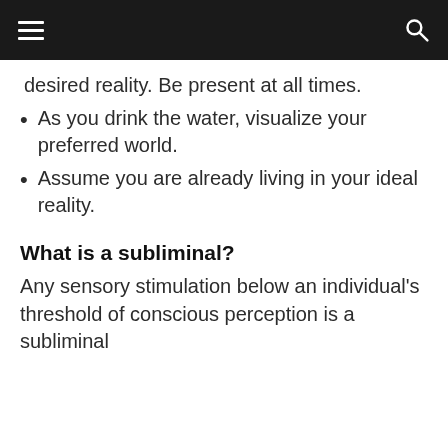[navigation bar with hamburger menu and search icon]
desired reality. Be present at all times.
As you drink the water, visualize your preferred world.
Assume you are already living in your ideal reality.
What is a subliminal?
Any sensory stimulation below an individual's threshold of conscious perception is a subliminal